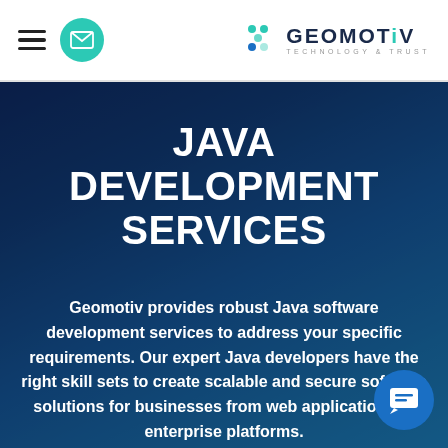GEOMOTiV TECHNOLOGY & TRUST
JAVA DEVELOPMENT SERVICES
Geomotiv provides robust Java software development services to address your specific requirements. Our expert Java developers have the right skill sets to create scalable and secure software solutions for businesses from web applications to enterprise platforms.
[Figure (illustration): Blue circular chat widget button with chat bubble icon in lower right corner]